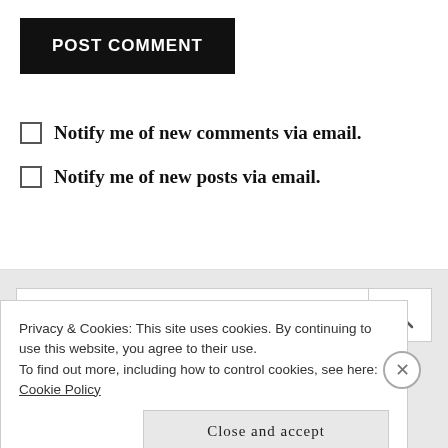POST COMMENT
Notify me of new comments via email.
Notify me of new posts via email.
Search
Privacy & Cookies: This site uses cookies. By continuing to use this website, you agree to their use.
To find out more, including how to control cookies, see here: Cookie Policy
Close and accept